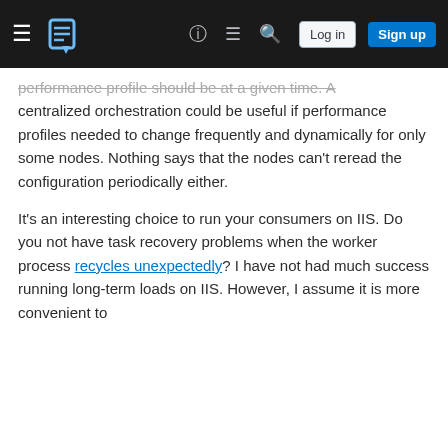Stack Exchange navigation bar with Log in and Sign up buttons
performance profile should be at a given time. A centralized orchestration could be useful if performance profiles needed to change frequently and dynamically for only some nodes. Nothing says that the nodes can't reread the configuration periodically either.
It's an interesting choice to run your consumers on IIS. Do you not have task recovery problems when the worker process recycles unexpectedly? I have not had much success running long-term loads on IIS. However, I assume it is more convenient to
Your privacy
By clicking "Accept all cookies", you agree Stack Exchange can store cookies on your device and disclose information in accordance with our Cookie Policy.
Accept all cookies    Customize settings
a bit more (maybe even serialize access to avoid